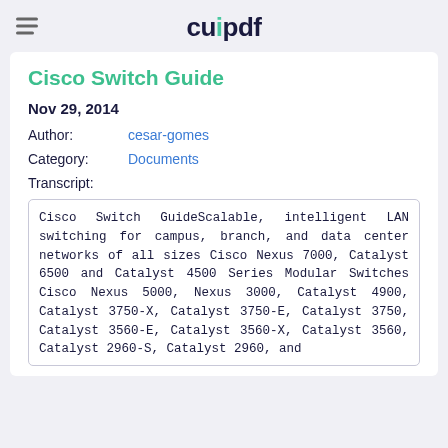cupdf
Cisco Switch Guide
Nov 29, 2014
Author: cesar-gomes
Category: Documents
Transcript:
Cisco Switch GuideScalable, intelligent LAN switching for campus, branch, and data center networks of all sizes Cisco Nexus 7000, Catalyst 6500 and Catalyst 4500 Series Modular Switches Cisco Nexus 5000, Nexus 3000, Catalyst 4900, Catalyst 3750-X, Catalyst 3750-E, Catalyst 3750, Catalyst 3560-E, Catalyst 3560-X, Catalyst 3560, Catalyst 2960-S, Catalyst 2960, and